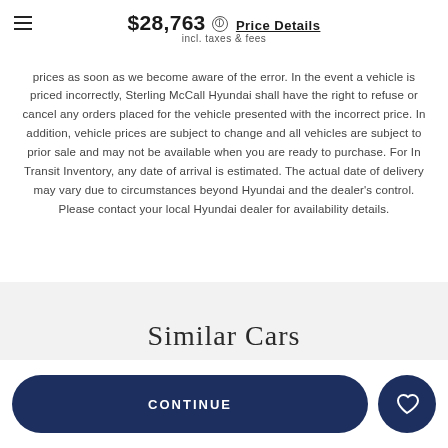$28,763 Price Details incl. taxes & fees
prices as soon as we become aware of the error. In the event a vehicle is priced incorrectly, Sterling McCall Hyundai shall have the right to refuse or cancel any orders placed for the vehicle presented with the incorrect price. In addition, vehicle prices are subject to change and all vehicles are subject to prior sale and may not be available when you are ready to purchase. For In Transit Inventory, any date of arrival is estimated. The actual date of delivery may vary due to circumstances beyond Hyundai and the dealer's control. Please contact your local Hyundai dealer for availability details.
Similar Cars